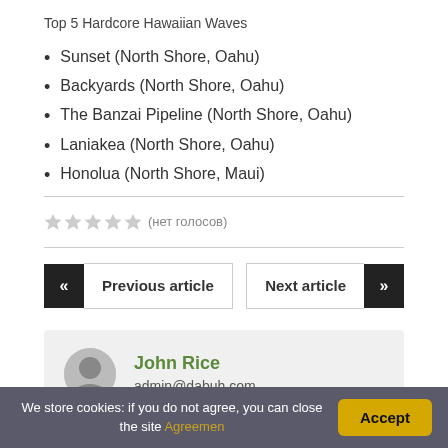Top 5 Hardcore Hawaiian Waves
Sunset (North Shore, Oahu)
Backyards (North Shore, Oahu)
The Banzai Pipeline (North Shore, Oahu)
Laniakea (North Shore, Oahu)
Honolua (North Shore, Maui)
(нет голосов)
Previous article
Next article
John Rice
admin@dabuh.com
We store cookies: if you do not agree, you can close the site Agreemen